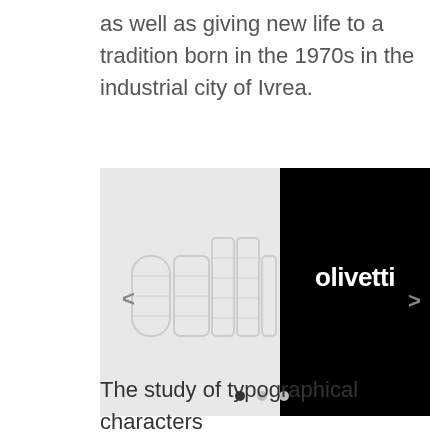as well as giving new life to a tradition born in the 1970s in the industrial city of Ivrea.
[Figure (screenshot): A split image showing the Olivetti logo in two styles: left half shows a light grey grid/construction version of the 'olivetti' lettering on a white/light grey background with a left arrow navigation indicator, right half shows the bold white 'olivetti' wordmark on a black background with a right arrow. Three dots (pagination indicator) appear at the bottom of the image.]
The study of typographical characters